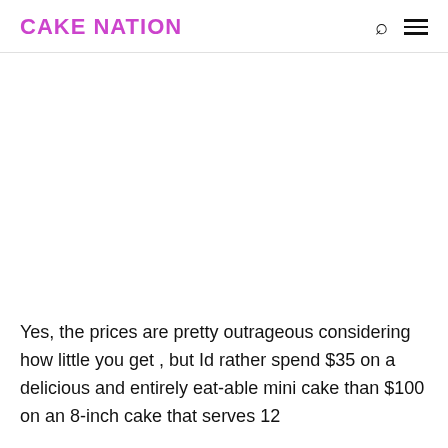CAKE NATION
[Figure (photo): Large white/empty image area, likely showing a mini cake product (image not visible in crop)]
Yes, the prices are pretty outrageous considering how little you get , but Id rather spend $35 on a delicious and entirely eat-able mini cake than $100 on an 8-inch cake that serves 12